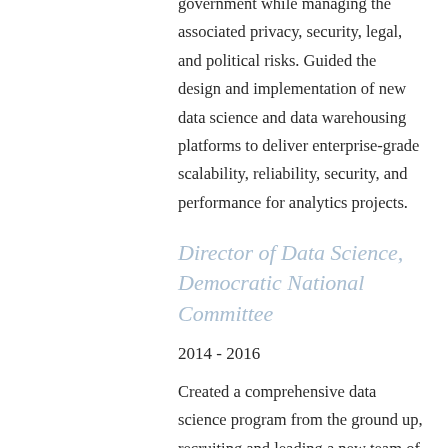government while managing the associated privacy, security, legal, and political risks. Guided the design and implementation of new data science and data warehousing platforms to deliver enterprise-grade scalability, reliability, security, and performance for analytics projects.
Director of Data Science, Democratic National Committee
2014 - 2016
Created a comprehensive data science program from the ground up, recruiting and leading a new team of data scientists, analysts, and engineers to